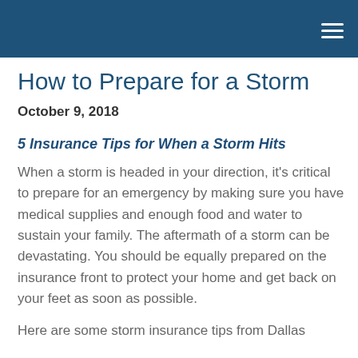How to Prepare for a Storm
October 9, 2018
5 Insurance Tips for When a Storm Hits
When a storm is headed in your direction, it's critical to prepare for an emergency by making sure you have medical supplies and enough food and water to sustain your family. The aftermath of a storm can be devastating. You should be equally prepared on the insurance front to protect your home and get back on your feet as soon as possible.
Here are some storm insurance tips from Dallas